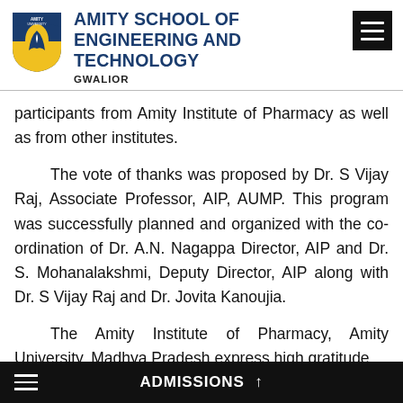AMITY SCHOOL OF ENGINEERING AND TECHNOLOGY GWALIOR
participants from Amity Institute of Pharmacy as well as from other institutes.
The vote of thanks was proposed by Dr. S Vijay Raj, Associate Professor, AIP, AUMP. This program was successfully planned and organized with the co-ordination of Dr. A.N. Nagappa Director, AIP and Dr. S. Mohanalakshmi, Deputy Director, AIP along with Dr. S Vijay Raj and Dr. Jovita Kanoujia.
The Amity Institute of Pharmacy, Amity University, Madhya Pradesh express high gratitude
ADMISSIONS ↑